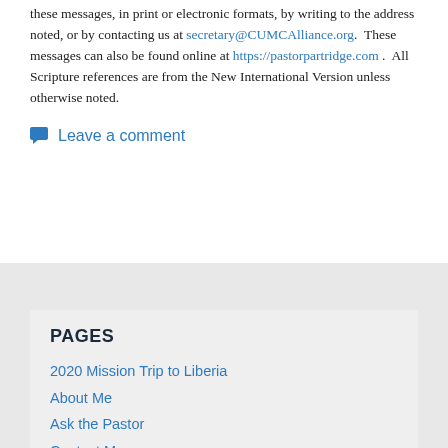these messages, in print or electronic formats, by writing to the address noted, or by contacting us at secretary@CUMCAlliance.org.  These messages can also be found online at https://pastorpartridge.com .  All Scripture references are from the New International Version unless otherwise noted.
Leave a comment
PAGES
2020 Mission Trip to Liberia
About Me
Ask the Pastor
Contact Me
Early Response Team Training